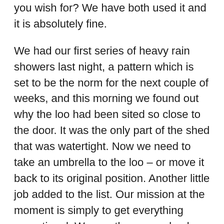you wish for? We have both used it and it is absolutely fine.
We had our first series of heavy rain showers last night, a pattern which is set to be the norm for the next couple of weeks, and this morning we found out why the loo had been sited so close to the door. It was the only part of the shed that was watertight. Now we need to take an umbrella to the loo – or move it back to its original position. Another little job added to the list. Our mission at the moment is simply to get everything operational. We can then come back and make less pressing improvements at our leisure.
Our tour now moves inside Le Shack to the 'shower room'. I mentioned in my last blog that the previous